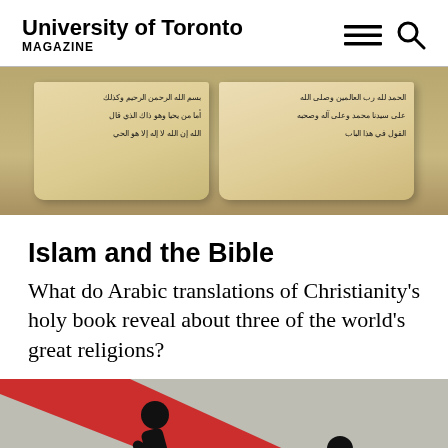University of Toronto MAGAZINE
[Figure (photo): Photograph of two aged Arabic manuscript pages side by side, showing handwritten Arabic text on yellowed parchment]
Islam and the Bible
What do Arabic translations of Christianity's holy book reveal about three of the world's great religions?
[Figure (illustration): Graphic illustration showing black silhouette figures with a bold red diagonal stripe crossing the image, depicting interaction between two human figures]